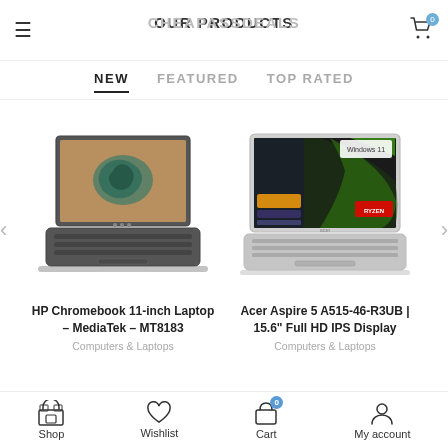CHEAPASSDEALS / OUR PRODUCTS
NEW | FEATURED | TOP RATED
[Figure (screenshot): HP Chromebook 11-inch laptop product photo showing the device open with a satellite map wallpaper]
HP Chromebook 11-inch Laptop – MediaTek – MT8183
Computers & Laptops
[Figure (screenshot): Acer Aspire 5 A515-46-R3UB laptop product photo showing the device open with Windows 11 and green abstract wallpaper]
Acer Aspire 5 A515-46-R3UB | 15.6" Full HD IPS Display
Computers & Laptops
Shop | Wishlist | Cart | My account